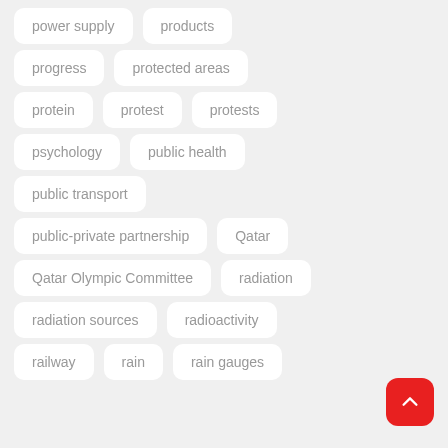power supply
products
progress
protected areas
protein
protest
protests
psychology
public health
public transport
public-private partnership
Qatar
Qatar Olympic Committee
radiation
radiation sources
radioactivity
railway
rain
rain gauges